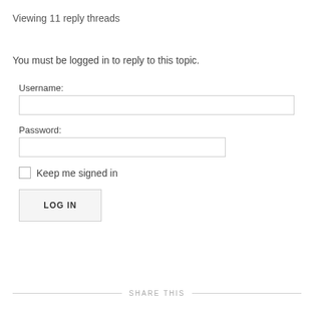Viewing 11 reply threads
You must be logged in to reply to this topic.
Username:
Password:
Keep me signed in
LOG IN
SHARE THIS